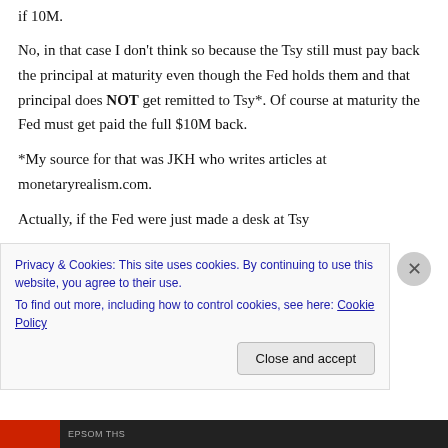if 10M.
No, in that case I don't think so because the Tsy still must pay back the principal at maturity even though the Fed holds them and that principal does NOT get remitted to Tsy*. Of course at maturity the Fed must get paid the full $10M back.
*My source for that was JKH who writes articles at monetaryrealism.com.
Actually, if the Fed were just made a desk at Tsy
Privacy & Cookies: This site uses cookies. By continuing to use this website, you agree to their use. To find out more, including how to control cookies, see here: Cookie Policy